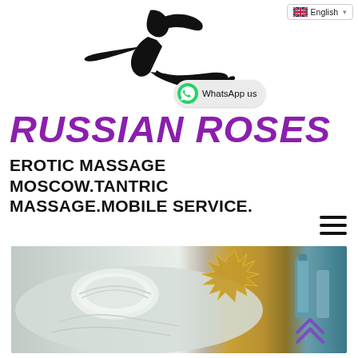[Figure (screenshot): Language selector dropdown showing English with UK flag]
[Figure (illustration): Black silhouette of a reclining woman]
[Figure (logo): WhatsApp us button with green WhatsApp icon]
RUSSIAN ROSES
EROTIC MASSAGE MOSCOW.TANTRIC MASSAGE.MOBILE SERVICE.
[Figure (illustration): Hamburger menu icon (three horizontal lines)]
[Figure (photo): Photo of rolled white towels and a golden decorative item on a blue/teal background, with purple double-chevron up arrow overlay]